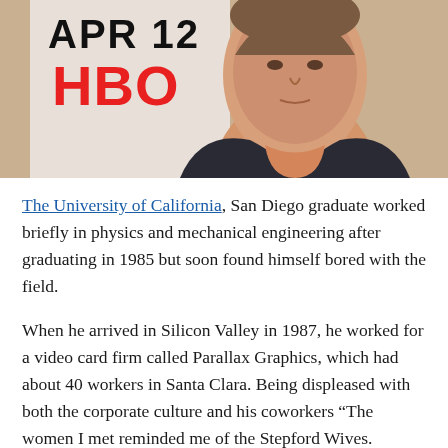[Figure (photo): Photo of a man in a dark blazer and orange/salmon collared shirt, standing in front of a backdrop showing 'APR 12' and 'HBO' in red letters. The man appears middle-aged with short hair.]
The University of California, San Diego graduate worked briefly in physics and mechanical engineering after graduating in 1985 but soon found himself bored with the field.
When he arrived in Silicon Valley in 1987, he worked for a video card firm called Parallax Graphics, which had about 40 workers in Santa Clara. Being displeased with both the corporate culture and his coworkers “The women I met reminded me of the Stepford Wives.
Regardless of what it was, they were fervent adherents ”), Judge